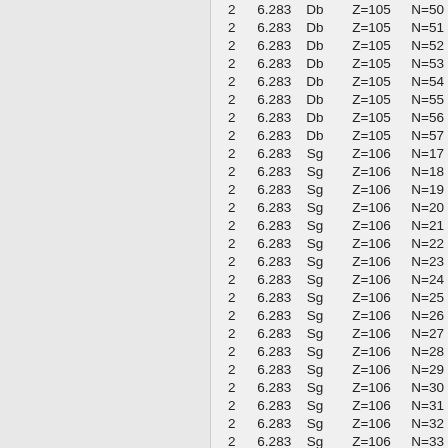| 2 | 6.283 | Db | Z=105 | N=50 |
| 2 | 6.283 | Db | Z=105 | N=51 |
| 2 | 6.283 | Db | Z=105 | N=52 |
| 2 | 6.283 | Db | Z=105 | N=53 |
| 2 | 6.283 | Db | Z=105 | N=54 |
| 2 | 6.283 | Db | Z=105 | N=55 |
| 2 | 6.283 | Db | Z=105 | N=56 |
| 2 | 6.283 | Db | Z=105 | N=57 |
| 2 | 6.283 | Sg | Z=106 | N=17 |
| 2 | 6.283 | Sg | Z=106 | N=18 |
| 2 | 6.283 | Sg | Z=106 | N=19 |
| 2 | 6.283 | Sg | Z=106 | N=20 |
| 2 | 6.283 | Sg | Z=106 | N=21 |
| 2 | 6.283 | Sg | Z=106 | N=22 |
| 2 | 6.283 | Sg | Z=106 | N=23 |
| 2 | 6.283 | Sg | Z=106 | N=24 |
| 2 | 6.283 | Sg | Z=106 | N=25 |
| 2 | 6.283 | Sg | Z=106 | N=26 |
| 2 | 6.283 | Sg | Z=106 | N=27 |
| 2 | 6.283 | Sg | Z=106 | N=28 |
| 2 | 6.283 | Sg | Z=106 | N=29 |
| 2 | 6.283 | Sg | Z=106 | N=30 |
| 2 | 6.283 | Sg | Z=106 | N=31 |
| 2 | 6.283 | Sg | Z=106 | N=32 |
| 2 | 6.283 | Sg | Z=106 | N=33 |